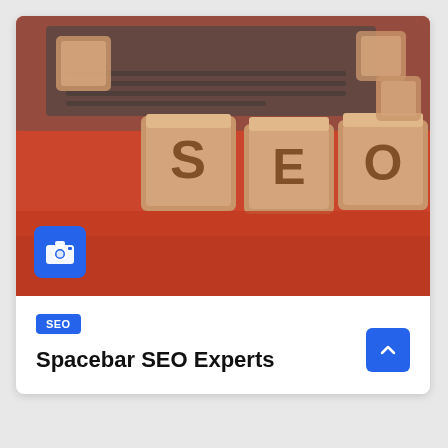[Figure (photo): Photo of three wooden blocks spelling S, E, O on a red/orange surface with a laptop in the background. A blue camera icon badge is in the lower-left corner of the image.]
SEO
Spacebar SEO Experts